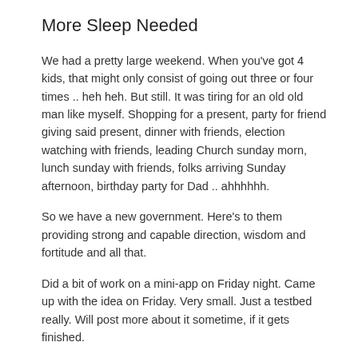More Sleep Needed
We had a pretty large weekend. When you've got 4 kids, that might only consist of going out three or four times .. heh heh. But still. It was tiring for an old old man like myself. Shopping for a present, party for friend giving said present, dinner with friends, election watching with friends, leading Church sunday morn, lunch sunday with friends, folks arriving Sunday afternoon, birthday party for Dad .. ahhhhhh.
So we have a new government. Here's to them providing strong and capable direction, wisdom and fortitude and all that.
Did a bit of work on a mini-app on Friday night. Came up with the idea on Friday. Very small. Just a testbed really. Will post more about it sometime, if it gets finished.